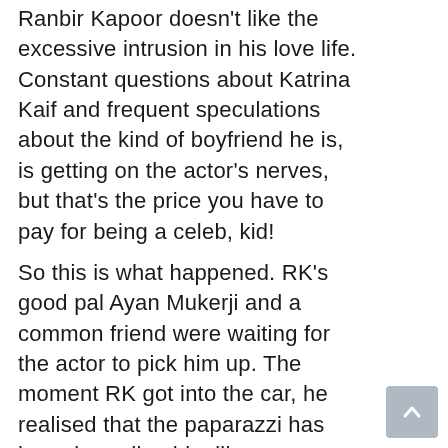Ranbir Kapoor doesn't like the excessive intrusion in his love life. Constant questions about Katrina Kaif and frequent speculations about the kind of boyfriend he is, is getting on the actor's nerves, but that's the price you have to pay for being a celeb, kid!
So this is what happened. RK's good pal Ayan Mukerji and a common friend were waiting for the actor to pick him up. The moment RK got into the car, he realised that the paparazzi has been hounding him like crazy. One of the reasons for his irritation was that the photographer was chasing him at such an unearthly hour.